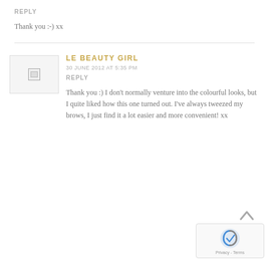REPLY
Thank you :-) xx
[Figure (other): Broken image placeholder / avatar thumbnail]
LE BEAUTY GIRL
30 JUNE 2012 AT 5:35 PM
REPLY
Thank you :) I don't normally venture into the colourful looks, but I quite liked how this one turned out. I've always tweezed my brows, I just find it a lot easier and more convenient! xx
[Figure (other): reCAPTCHA badge with logo and Privacy - Terms text]